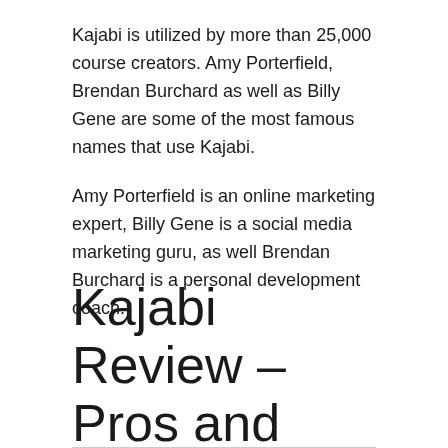Kajabi is utilized by more than 25,000 course creators. Amy Porterfield, Brendan Burchard as well as Billy Gene are some of the most famous names that use Kajabi.
Amy Porterfield is an online marketing expert, Billy Gene is a social media marketing guru, as well Brendan Burchard is a personal development coach.
Kajabi Review – Pros and Cons